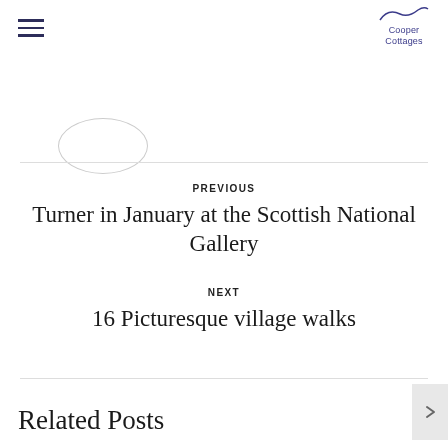Cooper Cottages
PREVIOUS
Turner in January at the Scottish National Gallery
NEXT
16 Picturesque village walks
Related Posts